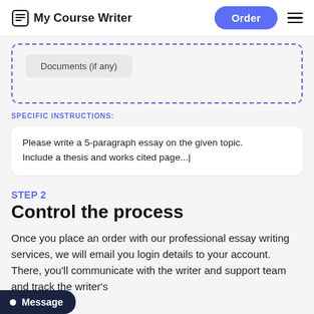My Course Writer | Order
[Figure (screenshot): Upload documents area with dashed blue border and 'Documents (if any)' pill button]
SPECIFIC INSTRUCTIONS:
Please write a 5-paragraph essay on the given topic. Include a thesis and works cited page...|
STEP 2
Control the process
Once you place an order with our professional essay writing services, we will email you login details to your account. There, you'll communicate with the writer and support team and track the writer's
Message